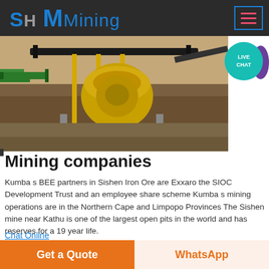SH MMining
[Figure (photo): Aerial/close-up view of mining equipment including a cone crusher and conveyor belts at an open pit mining site]
[Figure (infographic): Live Chat button — teal circular badge with 'LIVE CHAT' text and purple speech bubble tail]
Mining companies
Kumba s BEE partners in Sishen Iron Ore are Exxaro the SIOC Development Trust and an employee share scheme Kumba s mining operations are in the Northern Cape and Limpopo Provinces The Sishen mine near Kathu is one of the largest open pits in the world and has reserves for a 19 year life.
Chat Online
[Figure (photo): Interior view of a large industrial building with steel framework and roof structure]
Get a Quote
WhatsApp